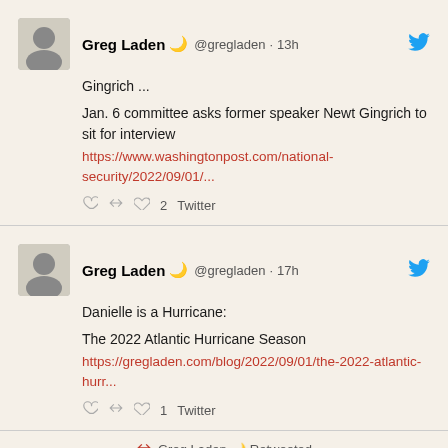Greg Laden @gregladen · 13h
Gingrich ...

Jan. 6 committee asks former speaker Newt Gingrich to sit for interview
https://www.washingtonpost.com/national-security/2022/09/01/...
Greg Laden @gregladen · 17h
Danielle is a Hurricane:

The 2022 Atlantic Hurricane Season
https://gregladen.com/blog/2022/09/01/the-2022-atlantic-hurr...
Greg Laden Retweeted
Joanne Hendricks for U.S. Congress MN-6